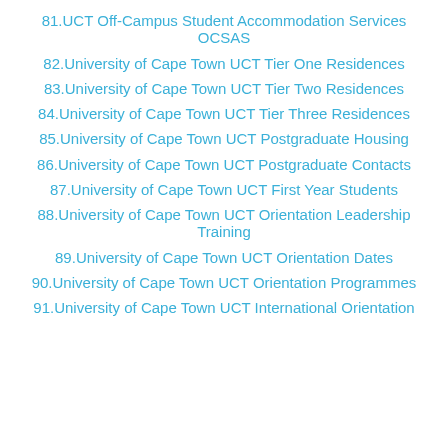81.UCT Off-Campus Student Accommodation Services OCSAS
82.University of Cape Town UCT Tier One Residences
83.University of Cape Town UCT Tier Two Residences
84.University of Cape Town UCT Tier Three Residences
85.University of Cape Town UCT Postgraduate Housing
86.University of Cape Town UCT Postgraduate Contacts
87.University of Cape Town UCT First Year Students
88.University of Cape Town UCT Orientation Leadership Training
89.University of Cape Town UCT Orientation Dates
90.University of Cape Town UCT Orientation Programmes
91.University of Cape Town UCT International Orientation